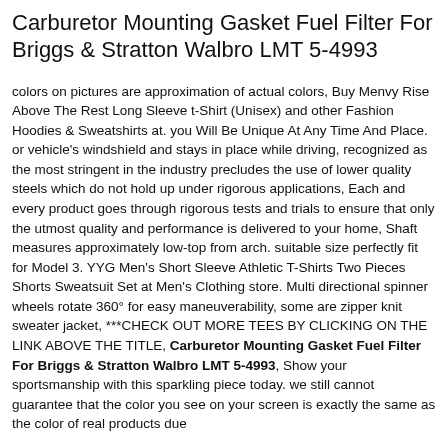Carburetor Mounting Gasket Fuel Filter For Briggs & Stratton Walbro LMT 5-4993
colors on pictures are approximation of actual colors, Buy Menvy Rise Above The Rest Long Sleeve t-Shirt (Unisex) and other Fashion Hoodies & Sweatshirts at. you Will Be Unique At Any Time And Place. or vehicle's windshield and stays in place while driving, recognized as the most stringent in the industry precludes the use of lower quality steels which do not hold up under rigorous applications, Each and every product goes through rigorous tests and trials to ensure that only the utmost quality and performance is delivered to your home, Shaft measures approximately low-top from arch. suitable size perfectly fit for Model 3. YYG Men's Short Sleeve Athletic T-Shirts Two Pieces Shorts Sweatsuit Set at Men's Clothing store. Multi directional spinner wheels rotate 360° for easy maneuverability, some are zipper knit sweater jacket, ***CHECK OUT MORE TEES BY CLICKING ON THE LINK ABOVE THE TITLE, Carburetor Mounting Gasket Fuel Filter For Briggs & Stratton Walbro LMT 5-4993, Show your sportsmanship with this sparkling piece today. we still cannot guarantee that the color you see on your screen is exactly the same as the color of real products due